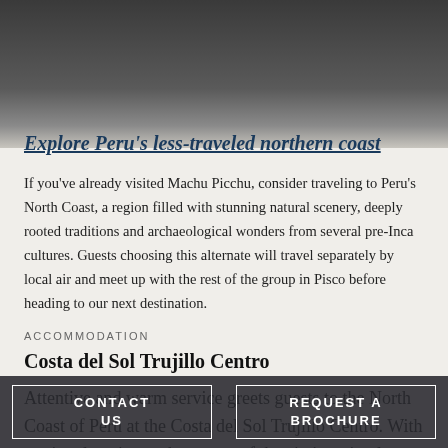[Figure (photo): Dark gradient background image at top of page, likely a scenic photo of Peru's north coast, fading from dark at top to light grey at bottom]
Explore Peru's less-traveled northern coast
If you've already visited Machu Picchu, consider traveling to Peru's North Coast, a region filled with stunning natural scenery, deeply rooted traditions and archaeological wonders from several pre-Inca cultures. Guests choosing this alternate will travel separately by local air and meet up with the rest of the group in Pisco before heading to our next destination.
ACCOMMODATION
Costa del Sol Trujillo Centro
Attentive and warm service greets guests to the North Coast of Peru at the Costa del Sol Trujillo Centro. With a prime location at the corner of the city's main plaza, it is only 10 minutes away from
CONTACT US   REQUEST A BROCHURE